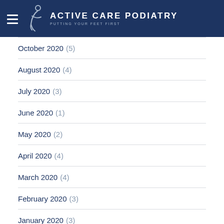Active Care Podiatry — Putting Your Feet First
October 2020 (5)
August 2020 (4)
July 2020 (3)
June 2020 (1)
May 2020 (2)
April 2020 (4)
March 2020 (4)
February 2020 (3)
January 2020 (3)
December 2019 (2)